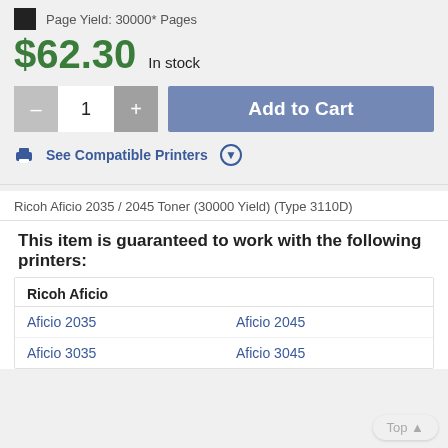Page Yield: 30000* Pages
$62.30  In stock
[Figure (screenshot): Quantity selector with minus button, quantity field showing 1, plus button, and Add to Cart button]
See Compatible Printers
Ricoh Aficio 2035 / 2045 Toner (30000 Yield) (Type 3110D)
This item is guaranteed to work with the following printers:
| Ricoh Aficio |  |
| --- | --- |
| Aficio 2035 | Aficio 2045 |
| Aficio 3035 | Aficio 3045 |